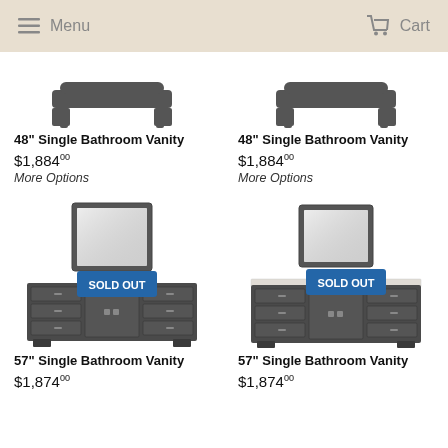Menu  Cart
[Figure (illustration): 48 inch single bathroom vanity rail/handle product image, top portion visible]
[Figure (illustration): 48 inch single bathroom vanity rail/handle product image, top portion visible]
48" Single Bathroom Vanity
48" Single Bathroom Vanity
$1,884 00
$1,884 00
More Options
More Options
[Figure (illustration): 57 inch single bathroom vanity with mirror, dark finish, SOLD OUT badge]
[Figure (illustration): 57 inch single bathroom vanity with mirror, dark finish with marble top, SOLD OUT badge]
57" Single Bathroom Vanity
57" Single Bathroom Vanity
$1,874 00
$1,874 00